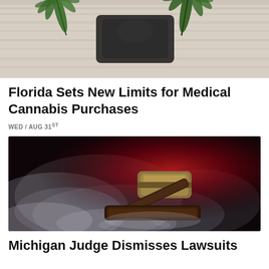[Figure (photo): Cannabis leaf and dark packaging/bag on a light wooden surface background]
Florida Sets New Limits for Medical Cannabis Purchases
WED / AUG 31ST
[Figure (photo): Judge's gavel on a sound block surrounded by dramatic red-lit smoke/fog on a dark background]
Michigan Judge Dismisses Lawsuits